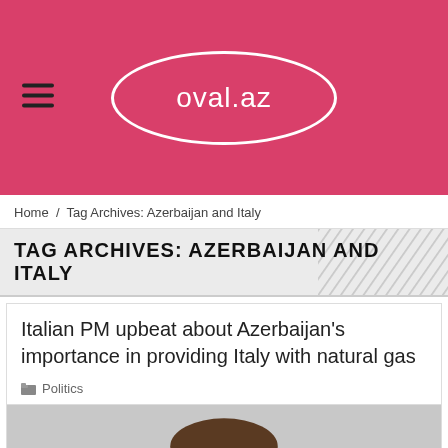oval.az
Home / Tag Archives: Azerbaijan and Italy
TAG ARCHIVES: AZERBAIJAN AND ITALY
Italian PM upbeat about Azerbaijan's importance in providing Italy with natural gas
Politics
[Figure (photo): Photograph of a man (Italian PM), cropped at shoulders, light background]